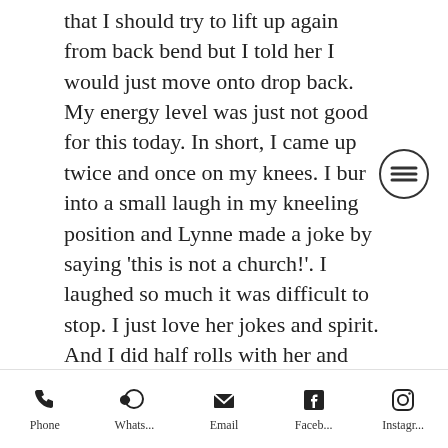that I should try to lift up again from back bend but I told her I would just move onto drop back. My energy level was just not good for this today. In short, I came up twice and once on my knees. I bur into a small laugh in my kneeling position and Lynne made a joke by saying 'this is not a church!'. I laughed so much it was difficult to stop. I just love her jokes and spirit. And I did half rolls with her and could move my fingers to walk closer to my feet. It was nice. She gave me a nice push in paschimattanasana and I was happy. Shoulder standing sequence was done in the usual way. I stayed my normal 30 and 20 breaths in sirsasana and half
[Figure (other): Hamburger menu icon — three horizontal lines inside a circle outline]
Phone | Whats... | Email | Faceb... | Instagr...